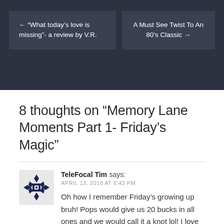← “What today’s love is missing”- a review by V.R.
A Must See Twist To An 80’s Classic →
8 thoughts on “Memory Lane Moments Part 1- Friday’s Magic”
TeleFocal Tim says:
APRIL 13, 2018 AT 8:43 PM
Oh how I remember Friday’s growing up bruh! Pops would give us 20 bucks in all ones and we would call it a knot lol! I love reading your posts Chuck. You always have a good word or a